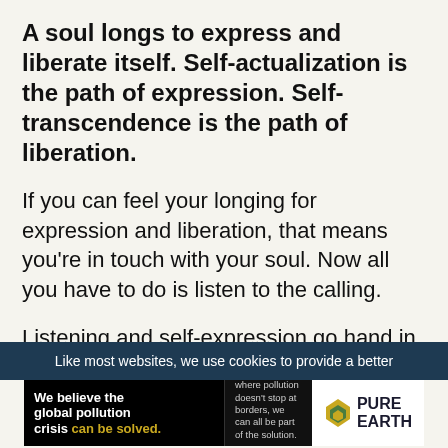A soul longs to express and liberate itself. Self-actualization is the path of expression. Self-transcendence is the path of liberation.
If you can feel your longing for expression and liberation, that means you’re in touch with your soul. Now all you have to do is listen to the calling.
Listening and self-expression go hand in
Like most websites, we use cookies to provide a better
[Figure (infographic): Pure Earth advertisement banner: black background with text 'We believe the global pollution crisis can be solved.' in yellow and white, middle section 'In a world where pollution doesn’t stop at borders, we can all be part of the solution. JOIN US.' and right section with Pure Earth logo on white background.]